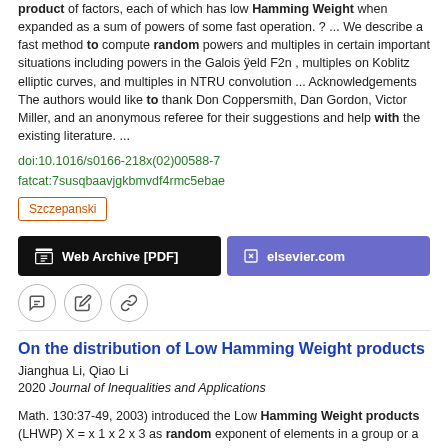product of factors, each of which has low Hamming Weight when expanded as a sum of powers of some fast operation. ? ... We describe a fast method to compute random powers and multiples in certain important situations including powers in the Galois ÿeld F2n , multiples on Koblitz elliptic curves, and multiples in NTRU convolution ... Acknowledgements The authors would like to thank Don Coppersmith, Dan Gordon, Victor Miller, and an anonymous referee for their suggestions and help with the existing literature. ...
doi:10.1016/s0166-218x(02)00588-7
fatcat:7susqbaavjgkbmvdf4rmc5ebae
Szczepanski
Web Archive [PDF]
elsevier.com
On the distribution of Low Hamming Weight products
Jianghua Li, Qiao Li
2020 Journal of Inequalities and Applications
Math. 130:37-49, 2003) introduced the Low Hamming Weight products (LHWP) X = x 1 x 2 x 3 as random exponent of elements in a group or a ring to improve the operational efficiency, where each x